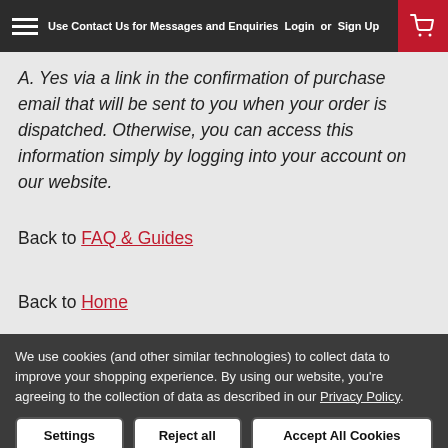Use Contact Us for Messages and Enquiries  Login or Sign Up
A. Yes via a link in the confirmation of purchase email that will be sent to you when your order is dispatched. Otherwise, you can access this information simply by logging into your account on our website.
Back to FAQ & Guides
Back to Home
JOIN OUR MAILING LIST for special offers!
We use cookies (and other similar technologies) to collect data to improve your shopping experience. By using our website, you're agreeing to the collection of data as described in our Privacy Policy.
Settings | Reject all | Accept All Cookies